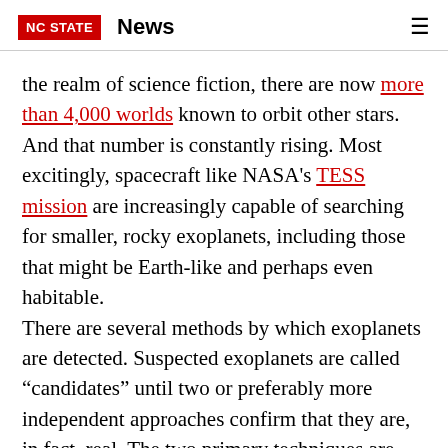NC STATE  News
the realm of science fiction, there are now more than 4,000 worlds known to orbit other stars. And that number is constantly rising. Most excitingly, spacecraft like NASA's TESS mission are increasingly capable of searching for smaller, rocky exoplanets, including those that might be Earth-like and perhaps even habitable.
There are several methods by which exoplanets are detected. Suspected exoplanets are called “candidates” until two or preferably more independent approaches confirm that they are, in fact, real. The two primary techniques are transit photometry and the radial velocity method.